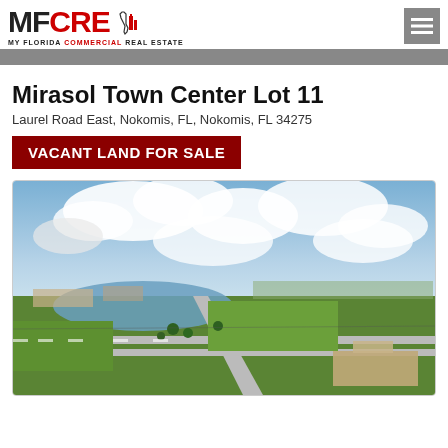MFCRE – My Florida Commercial Real Estate
Mirasol Town Center Lot 11
Laurel Road East, Nokomis, FL, Nokomis, FL 34275
VACANT LAND FOR SALE
[Figure (photo): Aerial drone photograph showing Mirasol Town Center area with green fields, road intersection, a lake in the background, and surrounding suburban development under partly cloudy skies.]